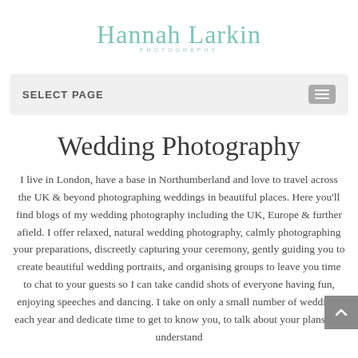[Figure (logo): Hannah Larkin Photography logo – script text in teal/mint color with 'PHOTOGRAPHY' in small caps beneath]
SELECT PAGE
Wedding Photography
I live in London, have a base in Northumberland and love to travel across the UK & beyond photographing weddings in beautiful places. Here you'll find blogs of my wedding photography including the UK, Europe & further afield. I offer relaxed, natural wedding photography, calmly photographing your preparations, discreetly capturing your ceremony, gently guiding you to create beautiful wedding portraits, and organising groups to leave you time to chat to your guests so I can take candid shots of everyone having fun, enjoying speeches and dancing. I take on only a small number of weddings each year and dedicate time to get to know you, to talk about your plans and understand